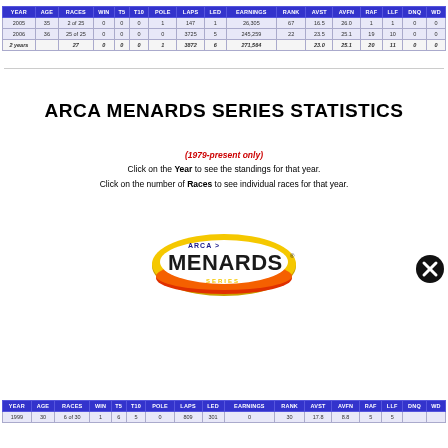| YEAR | AGE | RACES | WIN | T5 | T10 | POLE | LAPS | LED | EARNINGS | RANK | AVST | AVFN | RAF | LLF | DNQ | WD |
| --- | --- | --- | --- | --- | --- | --- | --- | --- | --- | --- | --- | --- | --- | --- | --- | --- |
| 2005 | 35 | 2 of 25 | 0 | 0 | 0 | 1 | 147 | 1 | 26,305 | 67 | 16.5 | 26.0 | 1 | 1 | 0 | 0 |
| 2006 | 36 | 25 of 25 | 0 | 0 | 0 | 0 | 3725 | 5 | 245,259 | 22 | 23.5 | 25.1 | 19 | 10 | 0 | 0 |
| 2 years |  | 27 | 0 | 0 | 0 | 1 | 3872 | 6 | 271,564 |  | 23.0 | 25.1 | 20 | 11 | 0 | 0 |
ARCA MENARDS SERIES STATISTICS
(1979-present only) Click on the Year to see the standings for that year. Click on the number of Races to see individual races for that year.
[Figure (logo): ARCA Menards Series logo - oval shape with yellow/red/orange gradient, MENARDS text in bold black, ARCA and SERIES text smaller]
| YEAR | AGE | RACES | WIN | T5 | T10 | POLE | LAPS | LED | EARNINGS | RANK | AVST | AVFN | RAF | LLF | DNQ | WD |
| --- | --- | --- | --- | --- | --- | --- | --- | --- | --- | --- | --- | --- | --- | --- | --- | --- |
| 1999 | 30 | 6 of 30 | 1 | 6 | 5 | 0 | 809 | 301 | 0 | 30 | 17.8 | 8.8 | 5 | 5 | ... | ... |